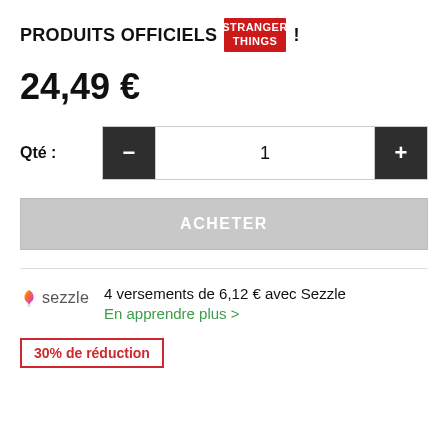PRODUITS OFFICIELS STRANGER THINGS !
24,49 €
Qté : — 1 +
ACHETER
4 versements de 6,12 € avec Sezzle En apprendre plus >
30% de réduction